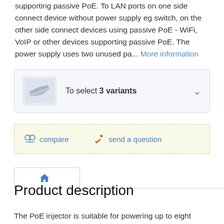supporting passive PoE. To LAN ports on one side connect device without power supply eg switch, on the other side connect devices using passive PoE - WiFi, VoIP or other devices supporting passive PoE. The power supply uses two unused pa... More information
[Figure (other): Product variant selector showing a small product image (PoE injector hardware) with text 'To select 3 variants' and a dropdown chevron, inside a rounded light-blue box]
[Figure (other): Action bar with dashed border on cream background showing 'compare' link with scales icon and 'send a question' link with pencil icon]
[Figure (other): Navigation tab bar showing an active home icon tab]
Product description
The PoE injector is suitable for powering up to eight devices